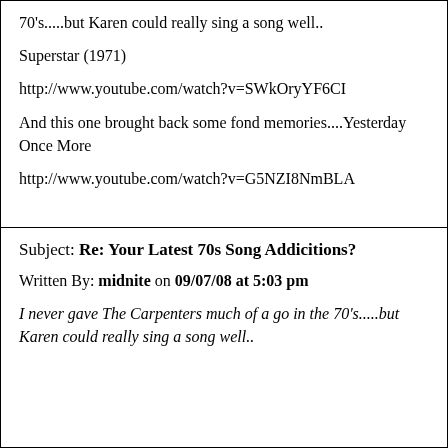70's.....but Karen could really sing a song well..
Superstar (1971)
http://www.youtube.com/watch?v=SWkOryYF6CI
And this one brought back some fond memories....Yesterday Once More
http://www.youtube.com/watch?v=G5NZI8NmBLA
Subject: Re: Your Latest 70s Song Addicitions?
Written By: midnite on 09/07/08 at 5:03 pm
I never gave The Carpenters much of a go in the 70's.....but Karen could really sing a song well..